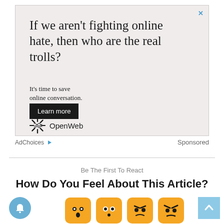[Figure (illustration): Advertisement for OpenWeb: 'If we aren't fighting online hate, then who are the real trolls?' with tagline 'It's time to save online conversation.' and a 'Learn more' button, with OpenWeb logo at bottom.]
AdChoices  Sponsored
Be The First To React
How Do You Feel About This Article?
[Figure (illustration): Row of four yellow emoji-style reaction buttons showing different facial expressions: surprised, wide-eyed, angry-side, and angry.]